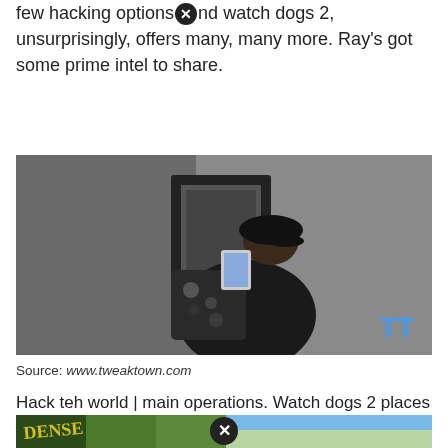few hacking optionsⓧnd watch dogs 2, unsurprisingly, offers many, many more. Ray's got some prime intel to share.
[Figure (photo): A video game character (Marcus Holloway from Watch Dogs 2) hacking a server box mounted on a wall, viewed from behind, wearing a dark jacket and backpack covered in pins/patches. A TweakTown logo is visible in the bottom right corner.]
Source: www.tweaktown.com
Hack teh world | main operations. Watch dogs 2 places players into the shoes of marcus holloway, a young hacker who has ideas for freeing humanity from the clutches of.
[Figure (photo): Bottom portion of a promotional image for a video game, showing jungle/nature scene on the left and a sky/outdoor scene on the right, with a close/dismiss button overlay in the center.]